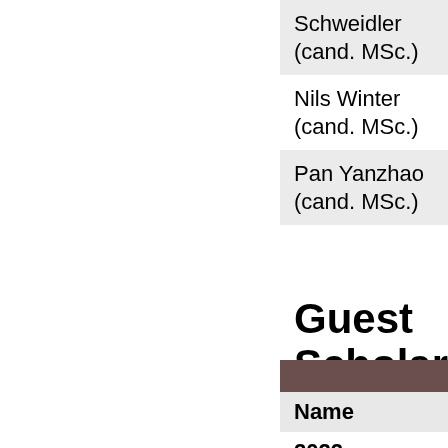| Schweidler (cand. MSc.) |
| Nils Winter (cand. MSc.) |
| Pan Yanzhao (cand. MSc.) |
Guest Scholars
| Name |  |
| --- | --- |
| 2022 |  |